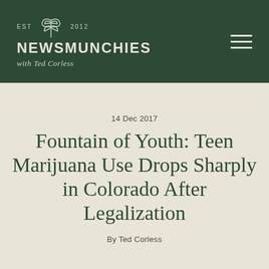EST 2012 NEWSMUNCHIES with Ted Corless
14 Dec 2017
Fountain of Youth: Teen Marijuana Use Drops Sharply in Colorado After Legalization
By Ted Corless